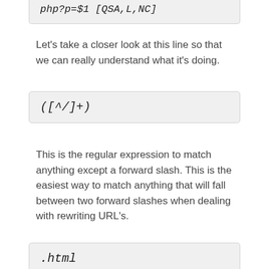php?p=$1 [QSA,L,NC]
Let's take a closer look at this line so that we can really understand what it's doing.
([^/]+)
This is the regular expression to match anything except a forward slash. This is the easiest way to match anything that will fall between two forward slashes when dealing with rewriting URL's.
.html